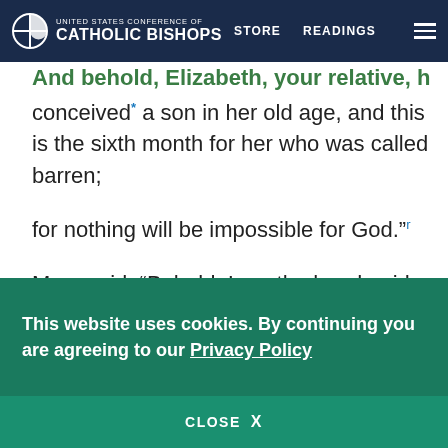UNITED STATES CONFERENCE OF CATHOLIC BISHOPS | STORE | READINGS
And behold, Elizabeth, your relative, has also conceived* a son in her old age, and this is the sixth month for her who was called barren;
for nothing will be impossible for God.”r
Mary said, “Behold, I am the handmaid of the Lord. May it be done to me according to your word.” Then the angel departed from her.
Mary Visits Elizabeth.
This website uses cookies. By continuing you are agreeing to our Privacy Policy
CLOSE X